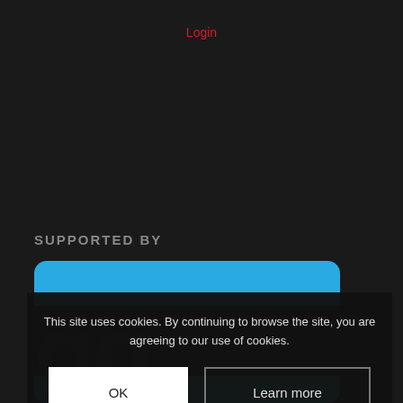Login
SUPPORTED BY
[Figure (screenshot): Blue rounded banner at top of a sponsor/supporter block]
This site uses cookies. By continuing to browse the site, you are agreeing to our use of cookies.
OK
Learn more
[Figure (screenshot): Partial blue sponsor banner with white letter g visible at bottom]